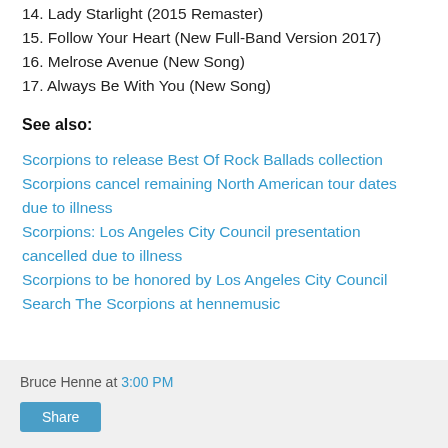14. Lady Starlight (2015 Remaster)
15. Follow Your Heart (New Full-Band Version 2017)
16. Melrose Avenue (New Song)
17. Always Be With You (New Song)
See also:
Scorpions to release Best Of Rock Ballads collection
Scorpions cancel remaining North American tour dates due to illness
Scorpions: Los Angeles City Council presentation cancelled due to illness
Scorpions to be honored by Los Angeles City Council
Search The Scorpions at hennemusic
Bruce Henne at 3:00 PM